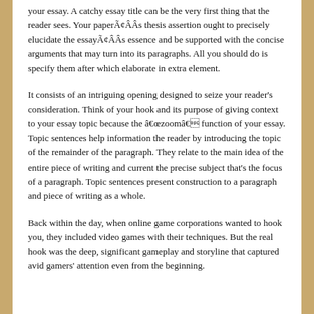your essay. A catchy essay title can be the very first thing that the reader sees. Your paperÃ¢ÂÂs thesis assertion ought to precisely elucidate the essayÃ¢ÂÂs essence and be supported with the concise arguments that may turn into its paragraphs. All you should do is specify them after which elaborate in extra element.
It consists of an intriguing opening designed to seize your reader's consideration. Think of your hook and its purpose of giving context to your essay topic because the âzoomâ function of your essay. Topic sentences help information the reader by introducing the topic of the remainder of the paragraph. They relate to the main idea of the entire piece of writing and current the precise subject that's the focus of a paragraph. Topic sentences present construction to a paragraph and piece of writing as a whole.
Back within the day, when online game corporations wanted to hook you, they included video games with their techniques. But the real hook was the deep, significant gameplay and storyline that captured avid gamers' attention even from the beginning.